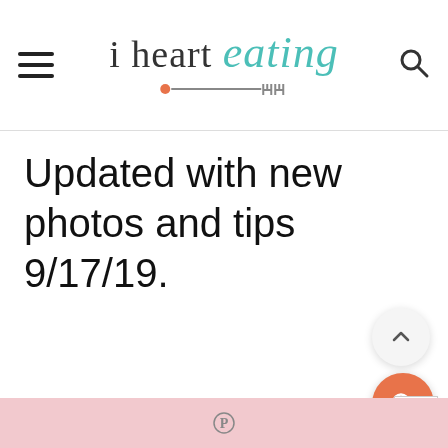i heart eating
Updated with new photos and tips 9/17/19.
Pinterest share bar